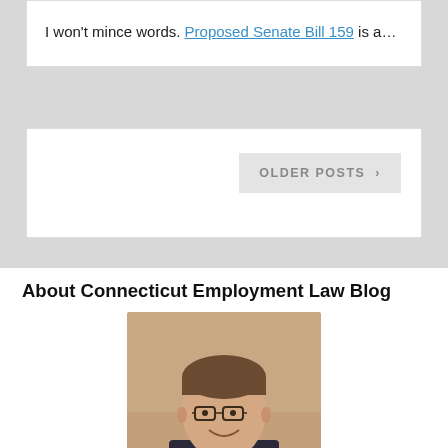I won't mince words. Proposed Senate Bill 159 is a…
OLDER POSTS >
About Connecticut Employment Law Blog
[Figure (photo): Headshot photo of Daniel A. Schwartz, a middle-aged man with glasses, brown hair, wearing a dark suit with a red tie, smiling, against a warm-toned background.]
Daniel A. Schwartz created the Connecticut Employment Law Blog in 2007 with the goal of sharing new and noteworthy items relating to employment law with